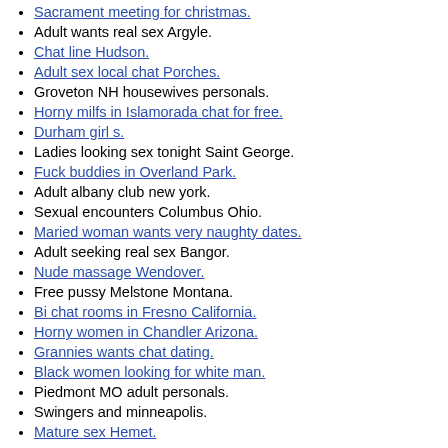Sacrament meeting for christmas.
Adult wants real sex Argyle.
Chat line Hudson.
Adult sex local chat Porches.
Groveton NH housewives personals.
Horny milfs in Islamorada chat for free.
Durham girl s.
Ladies looking sex tonight Saint George.
Fuck buddies in Overland Park.
Adult albany club new york.
Sexual encounters Columbus Ohio.
Maried woman wants very naughty dates.
Adult seeking real sex Bangor.
Nude massage Wendover.
Free pussy Melstone Montana.
Bi chat rooms in Fresno California.
Horny women in Chandler Arizona.
Grannies wants chat dating.
Black women looking for white man.
Piedmont MO adult personals.
Swingers and minneapolis.
Mature sex Hemet.
Gamer LF gamer woman.